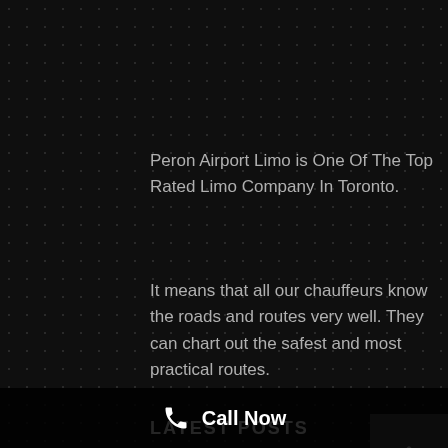Peron Airport Limo is One Of The Top Rated Limo Company In Toronto.
It means that all our chauffeurs know the roads and routes very well. They can chart out the safest and most practical routes.
LATEST POSTS
Limousine Transportation BENEFITS With Toronto Airport Limo
Call Now